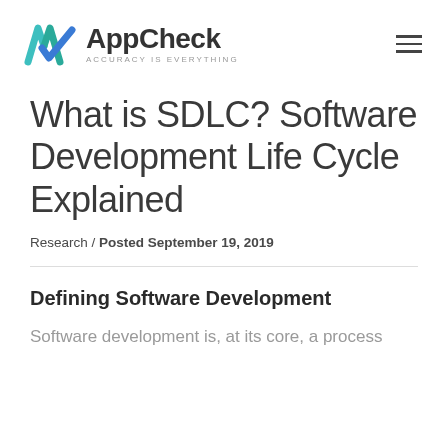AppCheck — ACCURACY IS EVERYTHING
What is SDLC? Software Development Life Cycle Explained
Research / Posted September 19, 2019
Defining Software Development
Software development is, at its core, a process